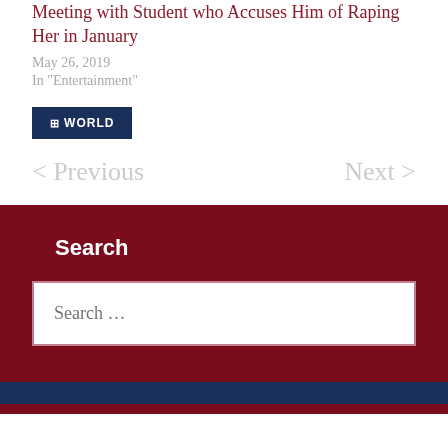Meeting with Student who Accuses Him of Raping Her in January
May 26, 2019
In "Entertainment"
WORLD
< Previous
Next >
Search
Search …